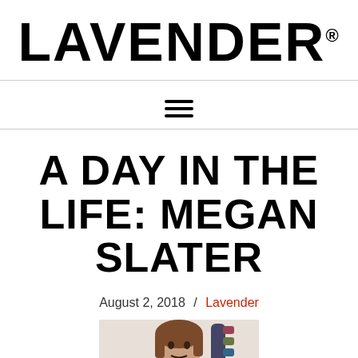LAVENDER®
A DAY IN THE LIFE: MEGAN SLATER
August 2, 2018 / Lavender
[Figure (photo): Photograph of Megan Slater, a woman with brown hair, partially cropped at the bottom of the page]